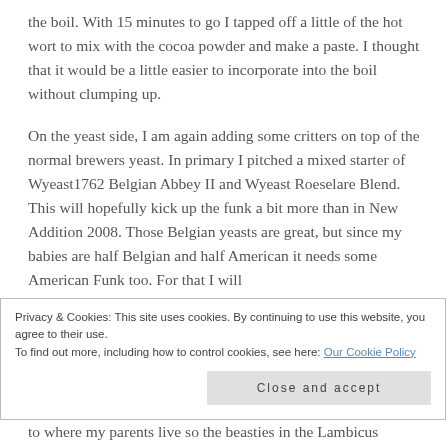the boil. With 15 minutes to go I tapped off a little of the hot wort to mix with the cocoa powder and make a paste. I thought that it would be a little easier to incorporate into the boil without clumping up.
On the yeast side, I am again adding some critters on top of the normal brewers yeast. In primary I pitched a mixed starter of Wyeast1762 Belgian Abbey II and Wyeast Roeselare Blend. This will hopefully kick up the funk a bit more than in New Addition 2008. Those Belgian yeasts are great, but since my babies are half Belgian and half American it needs some American Funk too. For that I will
Privacy & Cookies: This site uses cookies. By continuing to use this website, you agree to their use.
To find out more, including how to control cookies, see here: Our Cookie Policy
Close and accept
to where my parents live so the beasties in the Lambicus